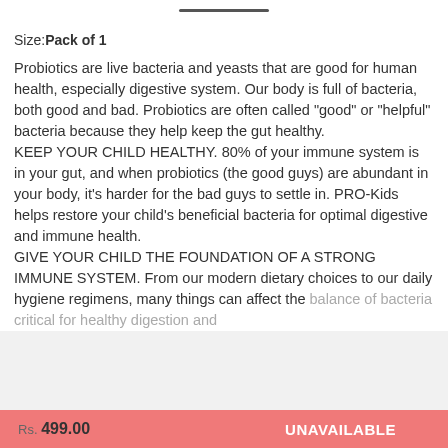Size: Pack of 1
Probiotics are live bacteria and yeasts that are good for human health, especially digestive system. Our body is full of bacteria, both good and bad. Probiotics are often called "good" or "helpful" bacteria because they help keep the gut healthy. KEEP YOUR CHILD HEALTHY. 80% of your immune system is in your gut, and when probiotics (the good guys) are abundant in your body, it's harder for the bad guys to settle in. PRO-Kids helps restore your child's beneficial bacteria for optimal digestive and immune health. GIVE YOUR CHILD THE FOUNDATION OF A STRONG IMMUNE SYSTEM. From our modern dietary choices to our daily hygiene regimens, many things can affect the balance of bacteria critical for healthy digestion and...
Rs. 499.00   UNAVAILABLE